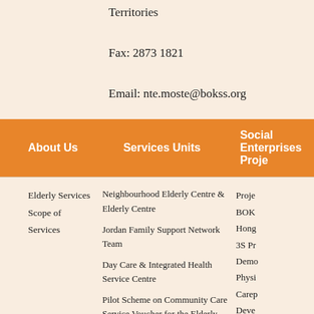Territories
Fax: 2873 1821
Email: nte.moste@bokss.org
About Us
Services Units
Social Enterprises Proje
Elderly Services
Scope of Services
Neighbourhood Elderly Centre & Elderly Centre
Jordan Family Support Network Team
Day Care & Integrated Health Service Centre
Pilot Scheme on Community Care Service Voucher for the Elderly (CCSV)
Carer & Dementia Community Support Service
Healthy RCHs- Visiting Medical Practitioner Service
Healthy RCHs-Multi-disciplinary Outreaching Support Teams for the Elderly-MOSTE
Proje
BOK
Hong
3S Pr
Demo
Physi
Carep Deve
囲囲囲囲囲囲
CAR